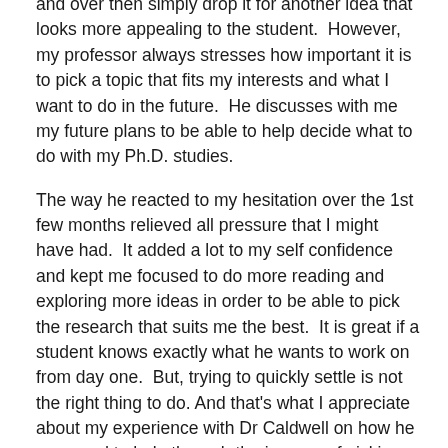and over then simply drop it for another idea that looks more appealing to the student.  However, my professor always stresses how important it is to pick a topic that fits my interests and what I want to do in the future.  He discusses with me my future plans to be able to help decide what to do with my Ph.D. studies.
The way he reacted to my hesitation over the 1st few months relieved all pressure that I might have had.  It added a lot to my self confidence and kept me focused to do more reading and exploring more ideas in order to be able to pick the research that suits me the best.  It is great if a student knows exactly what he wants to work on from day one.  But, trying to quickly settle is not the right thing to do. And that's what I appreciate about my experience with Dr Caldwell on how he managed to help through the journey of picking the best fit for me.